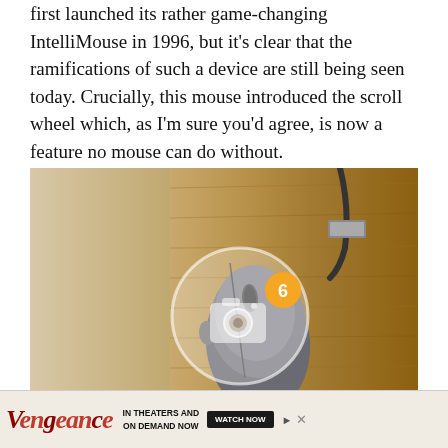first launched its rather game-changing IntelliMouse in 1996, but it's clear that the ramifications of such a device are still being seen today. Crucially, this mouse introduced the scroll wheel which, as I'm sure you'd agree, is now a feature no mouse can do without.
[Figure (photo): A wired computer mouse (possibly Microsoft IntelliMouse) on a wooden surface, viewed from above. A circular overlay with a camera icon and the number 6 in an orange badge indicates a photo gallery.]
The Classic IntelliMouse isn't quite so revolutionary.
There
mous
third